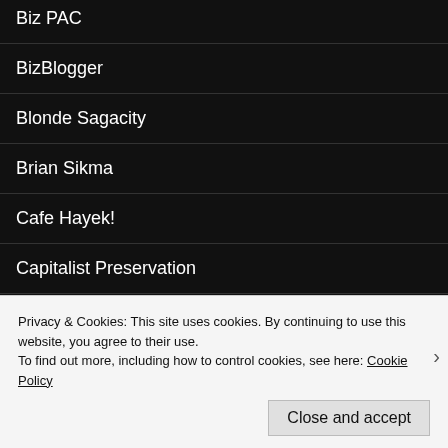Biz PAC
BizBlogger
Blonde Sagacity
Brian Sikma
Cafe Hayek!
Capitalist Preservation
CDN Political Cartoons
Center for Media and Public Affairs GMU
Cinnamon Stillwell
Privacy & Cookies: This site uses cookies. By continuing to use this website, you agree to their use.
To find out more, including how to control cookies, see here: Cookie Policy
Close and accept